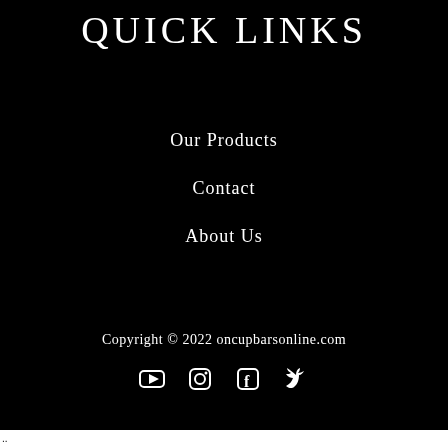QUICK LINKS
Our Products
Contact
About Us
Copyright © 2022 oncupbarsonline.com
[Figure (other): Social media icons: YouTube, Instagram, Facebook, Twitter]
..